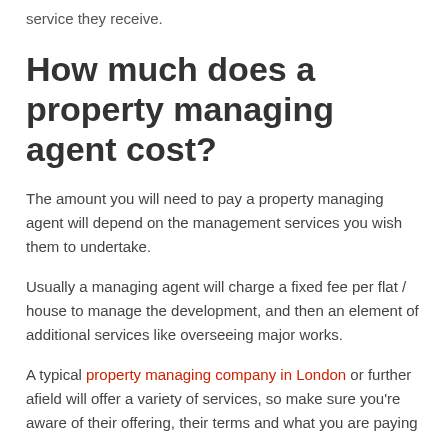service they receive.
How much does a property managing agent cost?
The amount you will need to pay a property managing agent will depend on the management services you wish them to undertake.
Usually a managing agent will charge a fixed fee per flat / house to manage the development, and then an element of additional services like overseeing major works.
A typical property managing company in London or further afield will offer a variety of services, so make sure you're aware of their offering, their terms and what you are paying